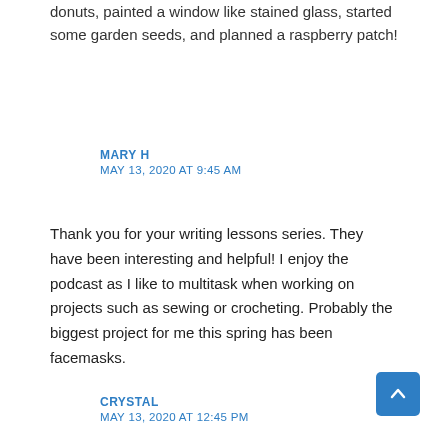donuts, painted a window like stained glass, started some garden seeds, and planned a raspberry patch!
MARY H
MAY 13, 2020 AT 9:45 AM
Thank you for your writing lessons series. They have been interesting and helpful! I enjoy the podcast as I like to multitask when working on projects such as sewing or crocheting. Probably the biggest project for me this spring has been facemasks.
CRYSTAL
MAY 13, 2020 AT 12:45 PM